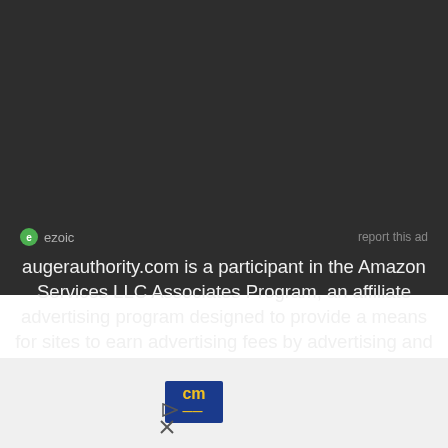[Figure (logo): Ezoic logo with green circular icon and 'ezoic' text, plus 'report this ad' text on the right]
augerauthority.com is a participant in the Amazon Services LLC Associates Program, an affiliate advertising program designed to provide a means for sites to earn advertising fees by advertising and linking to Amazon.com, .ca, .uk, and all associate sites. Amazon and the Amazon logo are trademarks of Amazon.com, Inc or its affiliates.  As an Amazon Associate I earn from qualifying purchases.  We also participate in various affiliate programs like HomeDepot, Clickbank etc, etc, and we receive a commission from qualifying purchases
[Figure (screenshot): Bottom advertisement area with CM logo (blue background yellow text) and blue navigation arrow diamond icon, with play and X icons below]